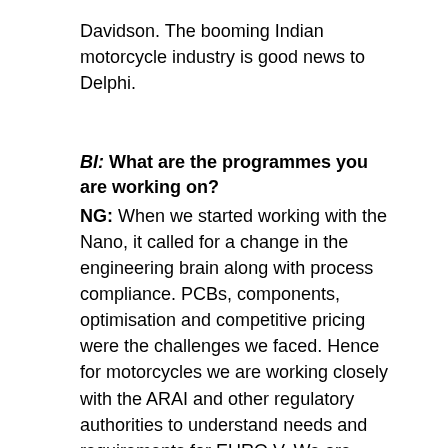Davidson. The booming Indian motorcycle industry is good news to Delphi.
BI: What are the programmes you are working on? NG: When we started working with the Nano, it called for a change in the engineering brain along with process compliance. PCBs, components, optimisation and competitive pricing were the challenges we faced. Hence for motorcycles we are working closely with the ARAI and other regulatory authorities to understand needs and requirements for EURO V. We are working on making components like evaporative canisters and other electronic controllers work independently of the current vehicle system while providing integrated systems wherever necessary. We are beginning our India manufacturing in Chennai from July 2011. We are also looking at some advanced development projects to explore using four-wheeler technologies in two-wheelers.